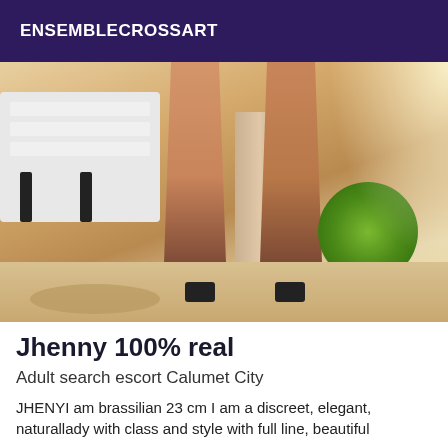ENSEMBLECROSSART
[Figure (photo): Photo showing legs of a person wearing high heels, standing near a white bench and pillar outdoors, with green plants visible on the right]
Jhenny 100% real
Adult search escort Calumet City
JHENYI am brassilian 23 cm I am a discreet, elegant, naturallady with class and style with full line, beautiful